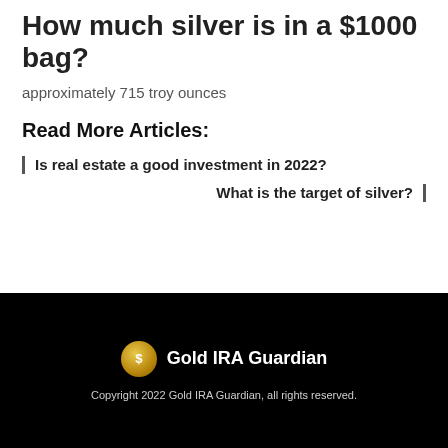How much silver is in a $1000 bag?
approximately 715 troy ounces
Read More Articles:
Is real estate a good investment in 2022?
What is the target of silver?
Gold IRA Guardian
Copyright 2022 Gold IRA Guardian, all rights reserved.